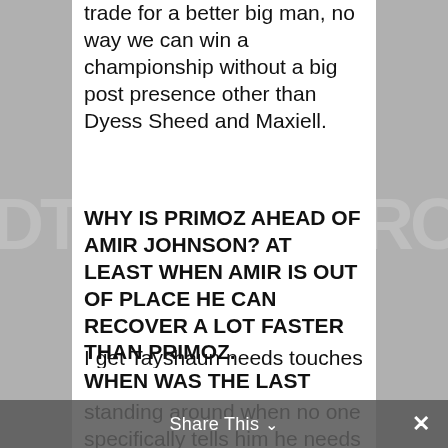trade for a better big man, no way we can win a championship without a big post presence other than Dyess Sheed and Maxiell.
WHY IS PRIMOZ AHEAD OF AMIR JOHNSON? AT LEAST WHEN AMIR IS OUT OF PLACE HE CAN RECOVER A LOT FASTER THAN PRIMOZ.
I get Tayshaun needs touches but I'm tired of him just standing around when no one specifically tells him he needs to score, he totally eliminates himself from getting points.
WHEN WAS THE LAST TIME HE
Share This ∨